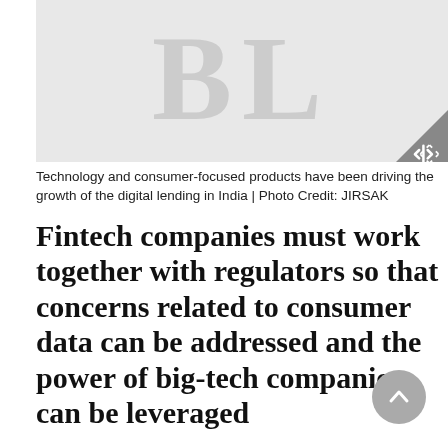[Figure (logo): Large grey 'BL' letters on light grey background with an expand icon in the bottom right corner]
Technology and consumer-focused products have been driving the growth of the digital lending in India | Photo Credit: JIRSAK
Fintech companies must work together with regulators so that concerns related to consumer data can be addressed and the power of big-tech companies can be leveraged